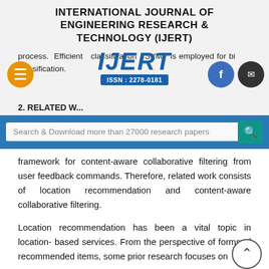INTERNATIONAL JOURNAL OF ENGINEERING RESEARCH & TECHNOLOGY (IJERT)
process. Efficient classification SVM is employed for binary classification.
[Figure (logo): IJERT logo with blue letters and ISSN: 2278-0181 banner]
2. RELATED W...
Search & Download more than 27000 research papers
framework for content-aware collaborative filtering from user feedback commands. Therefore, related work consists of location recommendation and content-aware collaborative filtering.
Location recommendation has been a vital topic in location- based services. From the perspective of forms of recommended items, some prior research focuses on